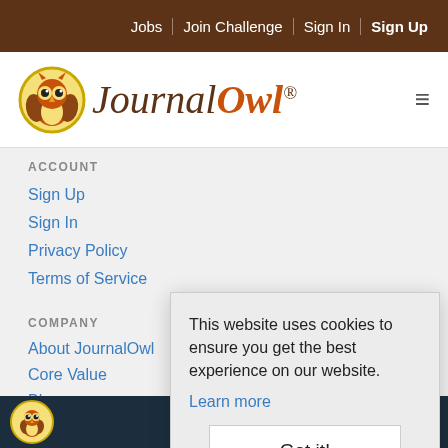Jobs | Join Challenge | Sign In | Sign Up
[Figure (logo): Journal Owl logo with owl icon and text, plus hamburger menu icon]
ACCOUNT
Sign Up
Sign In
Privacy Policy
Terms of Service
COMPANY
About JournalOwl
Core Value
Blog
This website uses cookies to ensure you get the best experience on our website. Learn more
Got it!